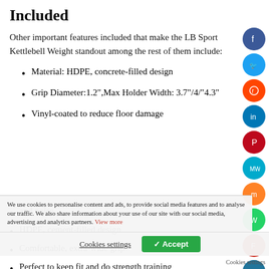Included
Other important features included that make the LB Sport Kettlebell Weight standout among the rest of them include:
Material: HDPE, concrete-filled design
Grip Diameter:1.2",Max Holder Width: 3.7"/4/"4.3"
Vinyl-coated to reduce floor damage and noise,
HDPE, cement-filled design
Comfortable, extra-wide grip
Perfect to keep fit and do strength training
We use cookies to personalise content and ads, to provide social media features and to analyse our traffic. We also share information about your use of our site with our social media, advertising and analytics partners. View more
Cookies settings   ✓ Accept   Cookies settings